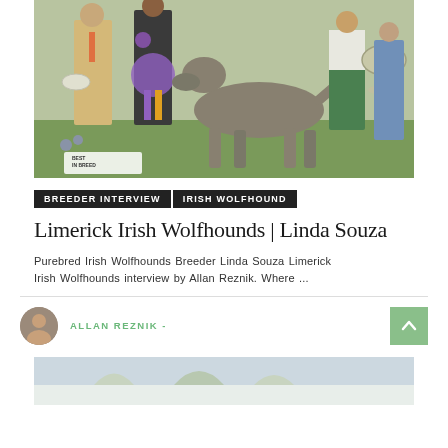[Figure (photo): Dog show photo: Irish Wolfhound with handlers and judge on grass, rosette ribbons visible, trophy held by woman on right, 'BEST IN BREED' sign at bottom left]
BREEDER INTERVIEW   IRISH WOLFHOUND
Limerick Irish Wolfhounds | Linda Souza
Purebred Irish Wolfhounds Breeder Linda Souza Limerick Irish Wolfhounds interview by Allan Reznik. Where ...
ALLAN REZNIK -
[Figure (photo): Partial bottom photo, appears to be a winter or outdoor scene, partially cut off]